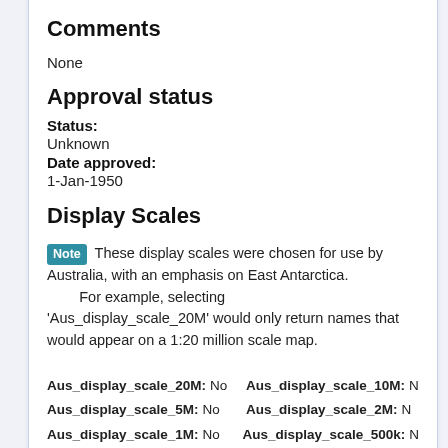Comments
None
Approval status
Status:
Unknown
Date approved:
1-Jan-1950
Display Scales
Note These display scales were chosen for use by Australia, with an emphasis on East Antarctica. For example, selecting 'Aus_display_scale_20M' would only return names that would appear on a 1:20 million scale map.
Aus_display_scale_20M: No  Aus_display_scale_10M: N
Aus_display_scale_5M: No  Aus_display_scale_2M: N
Aus_display_scale_1M: No  Aus_display_scale_500k: N
Aus_display_scale_250k: No  Aus_display_scale_100k: N